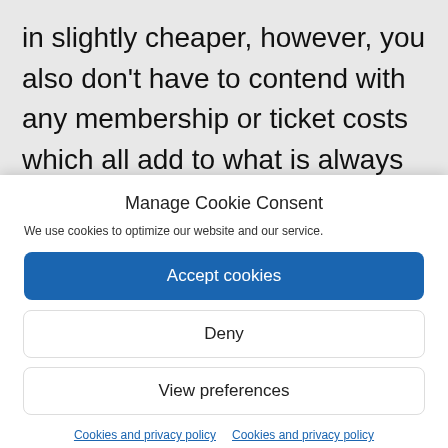in slightly cheaper, however, you also don't have to contend with any membership or ticket costs which all add to what is always an expensive day out. And if we win or get placed (in both BE and Unaff) don't be expecting your winnings to pay for the cost of your day
Manage Cookie Consent
We use cookies to optimize our website and our service.
Accept cookies
Deny
View preferences
Cookies and privacy policy  Cookies and privacy policy